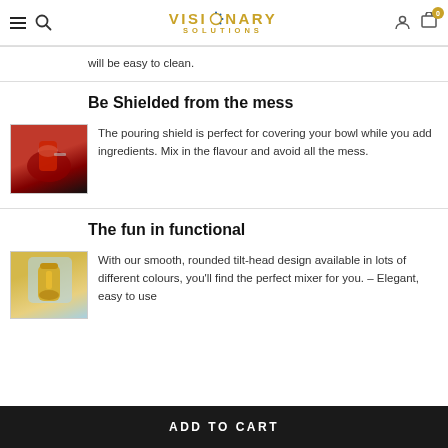VISIONARY SOLUTIONS
will be easy to clean.
Be Shielded from the mess
[Figure (photo): Red KitchenAid mixer bowl with pouring shield attachment, dark background]
The pouring shield is perfect for covering your bowl while you add ingredients. Mix in the flavour and avoid all the mess.
The fun in functional
[Figure (photo): Yellow KitchenAid stand mixer on light blue background]
With our smooth, rounded tilt-head design available in lots of different colours, you'll find the perfect mixer for you. – Elegant, easy to use